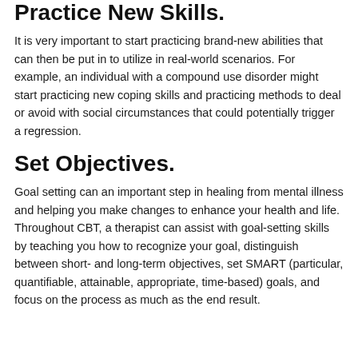Practice New Skills.
It is very important to start practicing brand-new abilities that can then be put in to utilize in real-world scenarios. For example, an individual with a compound use disorder might start practicing new coping skills and practicing methods to deal or avoid with social circumstances that could potentially trigger a regression.
Set Objectives.
Goal setting can an important step in healing from mental illness and helping you make changes to enhance your health and life. Throughout CBT, a therapist can assist with goal-setting skills by teaching you how to recognize your goal, distinguish between short- and long-term objectives, set SMART (particular, quantifiable, attainable, appropriate, time-based) goals, and focus on the process as much as the end result.